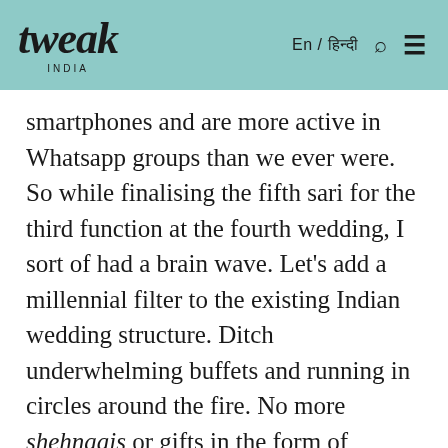tweak INDIA | En / हिन्दी
smartphones and are more active in Whatsapp groups than we ever were. So while finalising the fifth sari for the third function at the fourth wedding, I sort of had a brain wave. Let's add a millennial filter to the existing Indian wedding structure. Ditch underwhelming buffets and running in circles around the fire. No more shehnaais or gifts in the form of ashirwaad.
Truth bomb: millennials need cash more than the blessings because wishes don't count as downpayment and can't be passed on to your landlord at the end of the month. That's how the